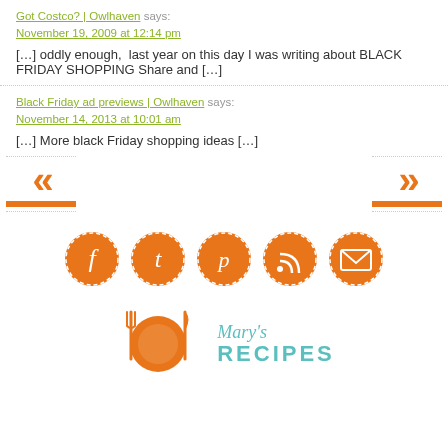Got Costco? | Owlhaven says: November 19, 2009 at 12:14 pm
[…] oddly enough,  last year on this day I was writing about BLACK FRIDAY SHOPPING Share and […]
Black Friday ad previews | Owlhaven says: November 14, 2013 at 10:01 am
[…] More black Friday shopping ideas […]
[Figure (infographic): Navigation arrows: left double chevron with orange bar (previous) and right double chevron with orange bar (next)]
[Figure (infographic): Social media icons row: Facebook (f), Tumblr (t), Pinterest (p), RSS feed, Email/envelope — all orange circular icons with dashed borders]
[Figure (logo): Mary's Recipes logo with plate and utensils icon in orange and teal script/text]